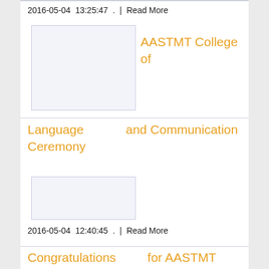2016-05-04  13:25:47  .  |  Read More
AASTMT College of
Language                and Communication Ceremony
2016-05-04  12:40:45  .  |  Read More
Congratulations           for AASTMT Student "Nour El Sherbini"
2016-05-03  12:25:20  .  |  Read More
"Transport,       Logistics and Supply Chain" Job Shop